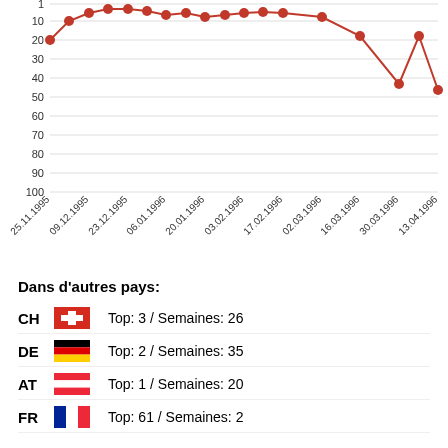[Figure (line-chart): ]
Dans d'autres pays:
CH  Top: 3 / Semaines: 26
DE  Top: 2 / Semaines: 35
AT  Top: 1 / Semaines: 20
FR  Top: 61 / Semaines: 2